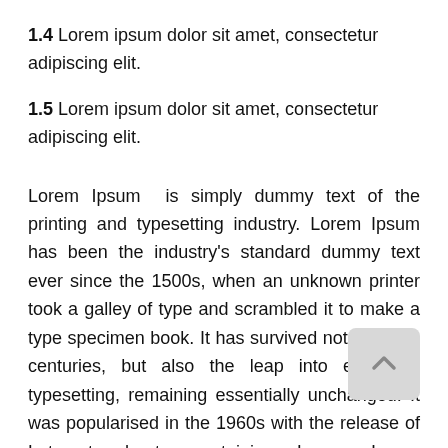1.4 Lorem ipsum dolor sit amet, consectetur adipiscing elit.
1.5 Lorem ipsum dolor sit amet, consectetur adipiscing elit.
Lorem Ipsum  is simply dummy text of the printing and typesetting industry. Lorem Ipsum has been the industry's standard dummy text ever since the 1500s, when an unknown printer took a galley of type and scrambled it to make a type specimen book. It has survived not only five centuries, but also the leap into electronic typesetting, remaining essentially unchanged. It was popularised in the 1960s with the release of Letraset sheets containing Lorem Ipsum passages, and more recently with